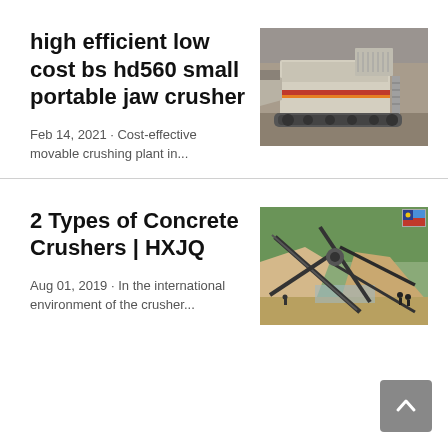high efficient low cost bs hd560 small portable jaw crusher
Feb 14, 2021 · Cost-effective movable crushing plant in...
[Figure (photo): Aerial/side view of a portable jaw crusher machine on tracks at a quarry site]
2 Types of Concrete Crushers | HXJQ
Aug 01, 2019 · In the international environment of the crusher...
[Figure (photo): Aerial view of crushing/conveyor equipment at a sand and gravel processing site]